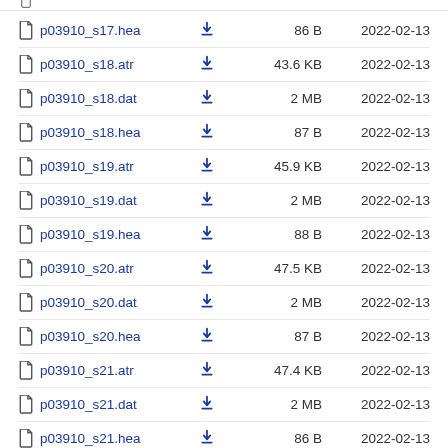p03910_s17.hea   86 B   2022-02-13
p03910_s18.atr   43.6 KB   2022-02-13
p03910_s18.dat   2 MB   2022-02-13
p03910_s18.hea   87 B   2022-02-13
p03910_s19.atr   45.9 KB   2022-02-13
p03910_s19.dat   2 MB   2022-02-13
p03910_s19.hea   88 B   2022-02-13
p03910_s20.atr   47.5 KB   2022-02-13
p03910_s20.dat   2 MB   2022-02-13
p03910_s20.hea   87 B   2022-02-13
p03910_s21.atr   47.4 KB   2022-02-13
p03910_s21.dat   2 MB   2022-02-13
p03910_s21.hea   86 B   2022-02-13